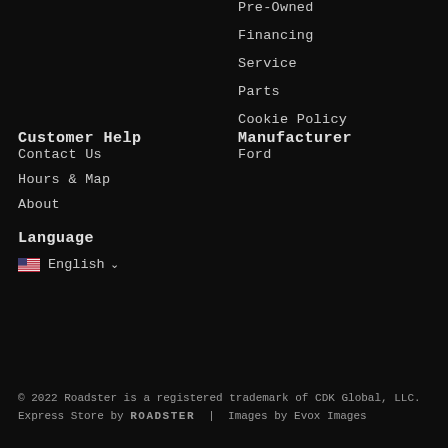Pre-Owned
Financing
Service
Parts
Cookie Policy
Customer Help
Contact Us
Hours & Map
About
Manufacturer
Ford
Language
🇺🇸 English ⌄
© 2022 Roadster is a registered trademark of CDK Global, LLC. Express Store by ROADSTER | Images by Evox Images